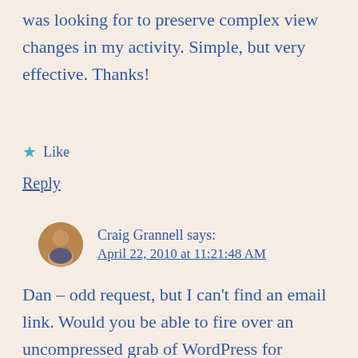was looking for to preserve complex view changes in my activity. Simple, but very effective. Thanks!
★ Like
Reply
Craig Grannell says:
April 22, 2010 at 11:21:48 AM
Dan – odd request, but I can't find an email link. Would you be able to fire over an uncompressed grab of WordPress for Android, so I can feature it in .net magazine?
★ Like